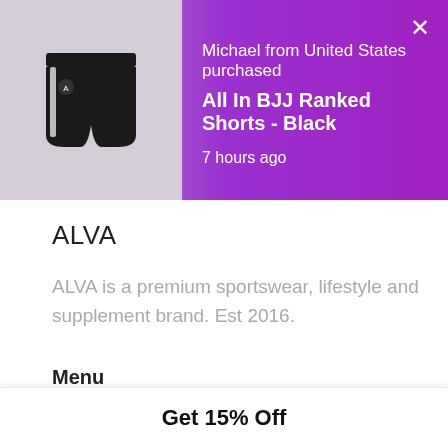[Figure (screenshot): Purchase notification popup showing black BJJ shorts thumbnail with purple gradient background. Shows text: Michael from United States purchased, All In BJJ Ranked Shorts - Black, 7 hours ago. X close button in top right.]
ALVA
ALVA is a premium sportswear, lifestyle and supplement brand. Est 2016.
Menu
About
Contact
Blog
Refund Policy
Get 15% Off